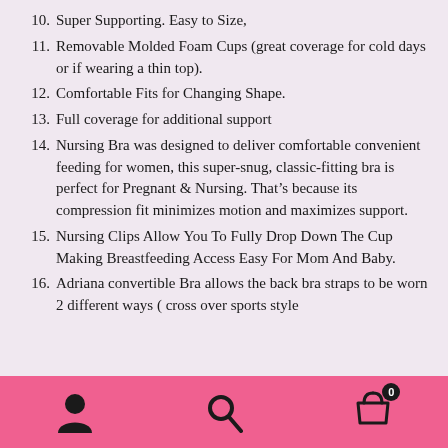10. Super Supporting. Easy to Size,
11. Removable Molded Foam Cups (great coverage for cold days or if wearing a thin top).
12. Comfortable Fits for Changing Shape.
13. Full coverage for additional support
14. Nursing Bra was designed to deliver comfortable convenient feeding for women, this super-snug, classic-fitting bra is perfect for Pregnant & Nursing. That’s because its compression fit minimizes motion and maximizes support.
15. Nursing Clips Allow You To Fully Drop Down The Cup Making Breastfeeding Access Easy For Mom And Baby.
16. Adriana convertible Bra allows the back bra straps to be worn 2 different ways ( cross over sports style
Navigation bar with user, search, and cart icons